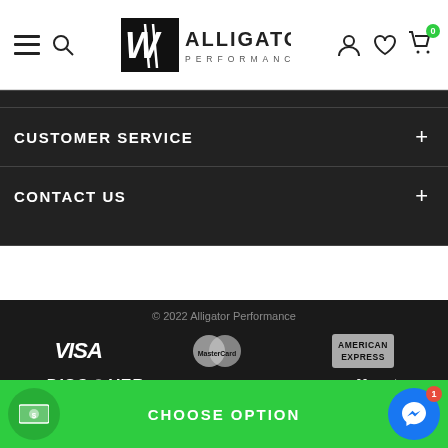[Figure (logo): Alligator Performance logo with navigation header including hamburger menu, search, user, wishlist, and cart icons]
CUSTOMER SERVICE
CONTACT US
© 2022 Alligator Performance
[Figure (infographic): Payment method logos: VISA, MasterCard, American Express, DISCOVER, PayPal, affirm, and partially visible Amazon Pay and another logo]
CHOOSE OPTION